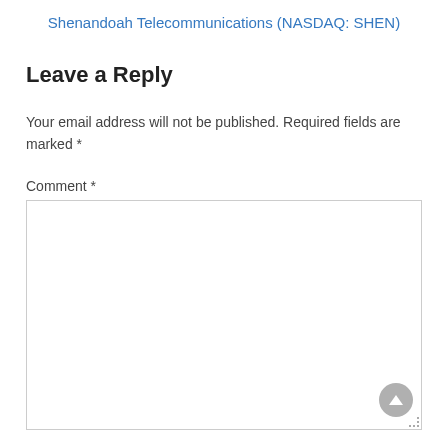Shenandoah Telecommunications (NASDAQ: SHEN)
Leave a Reply
Your email address will not be published. Required fields are marked *
Comment *
[Figure (other): Empty comment text area input box with resize handle in bottom-right corner and a scroll-to-top button]